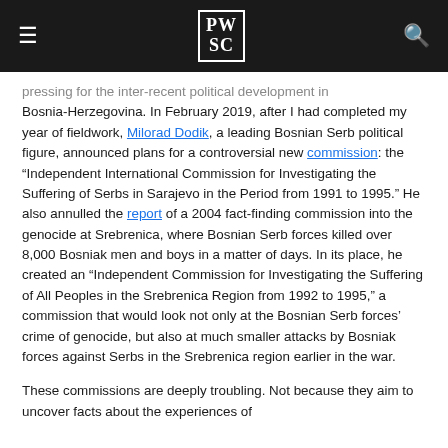PWSC (logo) navigation header
pressing for the inter-recent political development in Bosnia-Herzegovina. In February 2019, after I had completed my year of fieldwork, Milorad Dodik, a leading Bosnian Serb political figure, announced plans for a controversial new commission: the “Independent International Commission for Investigating the Suffering of Serbs in Sarajevo in the Period from 1991 to 1995.” He also annulled the report of a 2004 fact-finding commission into the genocide at Srebrenica, where Bosnian Serb forces killed over 8,000 Bosniak men and boys in a matter of days. In its place, he created an “Independent Commission for Investigating the Suffering of All Peoples in the Srebrenica Region from 1992 to 1995,” a commission that would look not only at the Bosnian Serb forces’ crime of genocide, but also at much smaller attacks by Bosniak forces against Serbs in the Srebrenica region earlier in the war.
These commissions are deeply troubling. Not because they aim to uncover facts about the experiences of